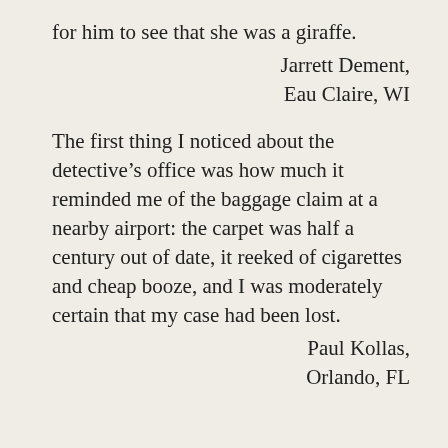for him to see that she was a giraffe.
Jarrett Dement,
Eau Claire, WI
The first thing I noticed about the detective’s office was how much it reminded me of the baggage claim at a nearby airport: the carpet was half a century out of date, it reeked of cigarettes and cheap booze, and I was moderately certain that my case had been lost.
Paul Kollas,
Orlando, FL